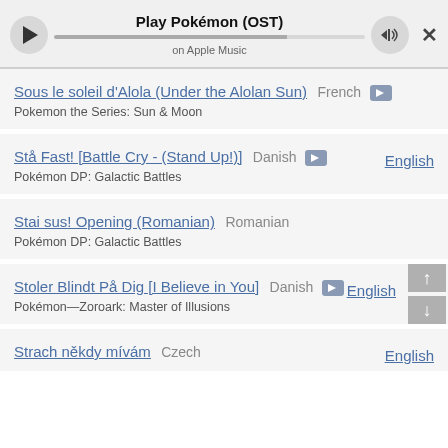Play Pokémon (OST) on Apple Music
Sous le soleil d'Alola (Under the Alolan Sun) French | Pokemon the Series: Sun & Moon
Stå Fast! [Battle Cry - (Stand Up!)] Danish | Pokémon DP: Galactic Battles | English
Stai sus! Opening (Romanian) Romanian | Pokémon DP: Galactic Battles
Stoler Blindt På Dig [I Believe in You] Danish | Pokémon—Zoroark: Master of Illusions | English
Strach někdy mívám Czech | English